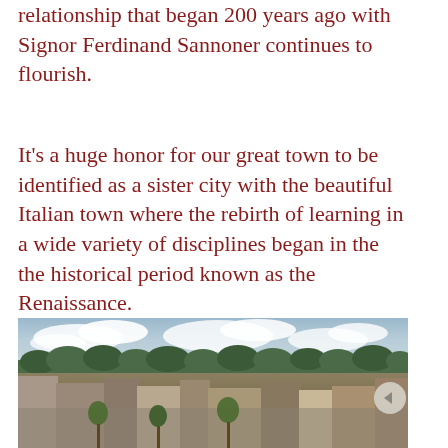relationship that began 200 years ago with Signor Ferdinand Sannoner continues to flourish.
It's a huge honor for our great town to be identified as a sister city with the beautiful Italian town where the rebirth of learning in a wide variety of disciplines began in the the historical period known as the Renaissance.
[Figure (photo): Aerial view of a small American town downtown area with brick buildings, trees, a town square/street, and a partly cloudy sky in the background.]